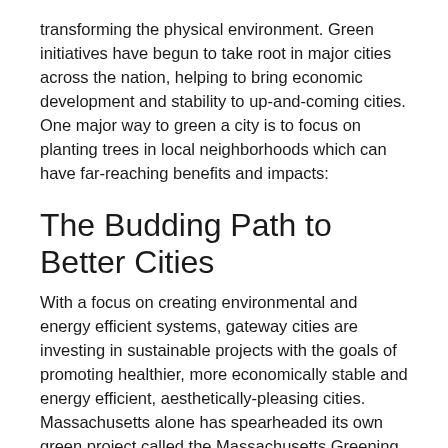transforming the physical environment. Green initiatives have begun to take root in major cities across the nation, helping to bring economic development and stability to up-and-coming cities. One major way to green a city is to focus on planting trees in local neighborhoods which can have far-reaching benefits and impacts:
The Budding Path to Better Cities
With a focus on creating environmental and energy efficient systems, gateway cities are investing in sustainable projects with the goals of promoting healthier, more economically stable and energy efficient, aesthetically-pleasing cities. Massachusetts alone has spearheaded its own green project called the Massachusetts Greening the Gateway Cities